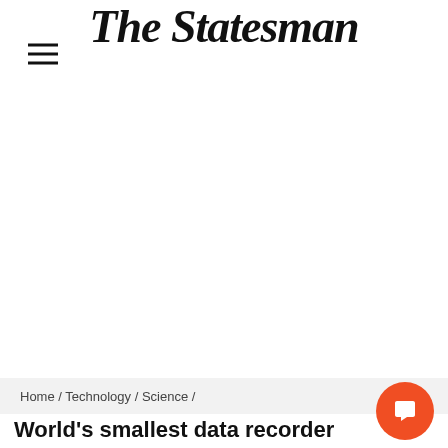The Statesman
[Figure (other): White blank advertisement area]
Home / Technology / Science /
World's smallest data recorder built from bact